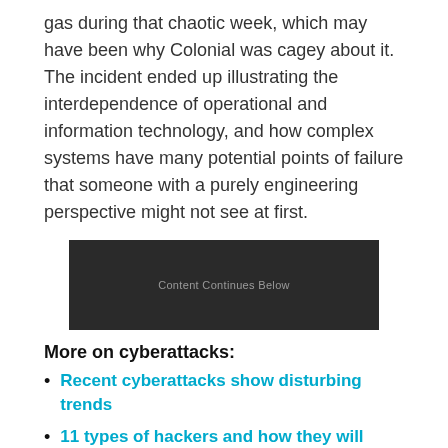gas during that chaotic week, which may have been why Colonial was cagey about it. The incident ended up illustrating the interdependence of operational and information technology, and how complex systems have many potential points of failure that someone with a purely engineering perspective might not see at first.
[Figure (other): Dark advertisement placeholder with text 'Content Continues Below']
More on cyberattacks:
Recent cyberattacks show disturbing trends
11 types of hackers and how they will harm you